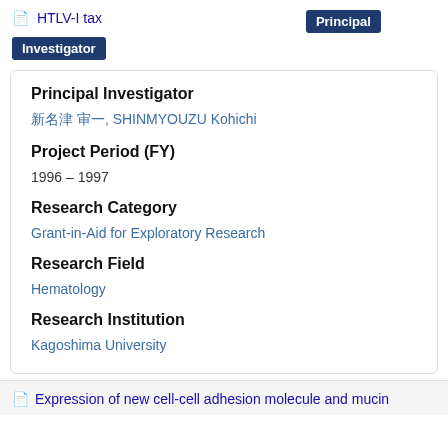HTLV-I tax　　　　　　　　　　　　　　　　　　Principal Investigator
Principal Investigator
新名津 孝一, SHINMYOUZU Kohichi
Project Period (FY)
1996 – 1997
Research Category
Grant-in-Aid for Exploratory Research
Research Field
Hematology
Research Institution
Kagoshima University
Expression of new cell-cell adhesion molecule and mucin